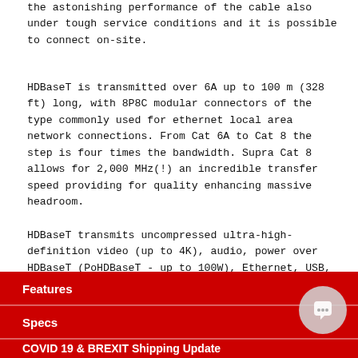the astonishing performance of the cable also under tough service conditions and it is possible to connect on-site.
HDBaseT is transmitted over 6A up to 100 m (328 ft) long, with 8P8C modular connectors of the type commonly used for ethernet local area network connections. From Cat 6A to Cat 8 the step is four times the bandwidth. Supra Cat 8 allows for 2,000 MHz(!) an incredible transfer speed providing for quality enhancing massive headroom.
HDBaseT transmits uncompressed ultra-high-definition video (up to 4K), audio, power over HDBaseT (PoHDBaseT - up to 100W), Ethernet, USB, and a series of controls such as RS and IR.
Features
Specs
COVID 19 & BREXIT Shipping Update